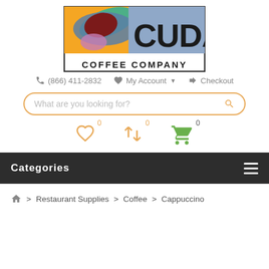[Figure (logo): Cuda Coffee Company logo — left side orange/blue abstract coffee cup illustration, right side blue-gray background with 'CUDA' in large bold black letters, 'COFFEE COMPANY' in bold black capitals below]
☎ (866) 411-2832   ♥ My Account ▾   ↪ Checkout
What are you looking for? [search box]
[Figure (infographic): Three icon counters: heart icon with badge 0, retweet/compare icon with badge 0, green shopping cart icon with badge 0]
Categories
🏠 > Restaurant Supplies > Coffee > Cappuccino